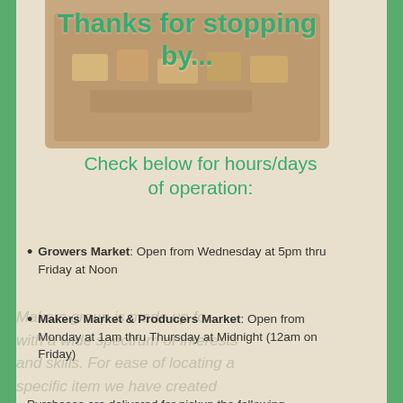[Figure (photo): Photo of market products/items on a table, partially visible at top of page, muted brownish tones]
Thanks for stopping by...
Check below for hours/days of operation:
Growers Market: Open from Wednesday at 5pm thru Friday at Noon
Makers Market & Producers Market: Open from Monday at 1am thru Thursday at Midnight (12am on Friday)
Purchases are delivered for pickup the following Saturday unless you have made other arrangements with the vendor.